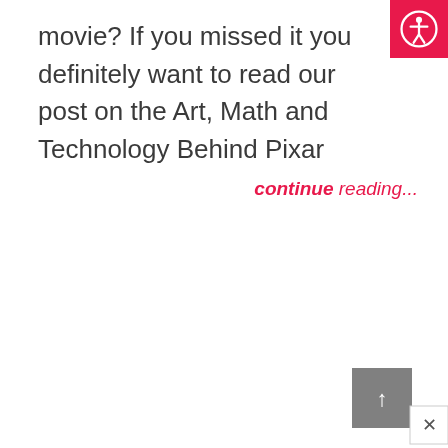movie? If you missed it you definitely want to read our post on the Art, Math and Technology Behind Pixar
continue reading...
[Figure (other): Accessibility icon button — circular person icon on pink/red background, top right corner]
[Figure (other): Scroll-to-top widget with gray background and up arrow, bottom right corner with close button]